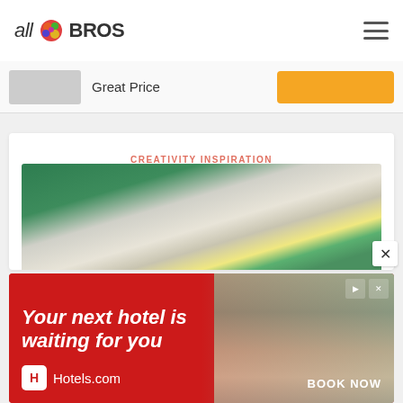all BROS
Great Price
CREATIVITY INSPIRATION
Cartoons That Cure: Art Therapy With Steve Barr
[Figure (photo): Art supplies with sketchbook, green folders, and yellow sticky notes on a table]
[Figure (screenshot): Hotels.com advertisement: 'Your next hotel is waiting for you' with BOOK NOW button]